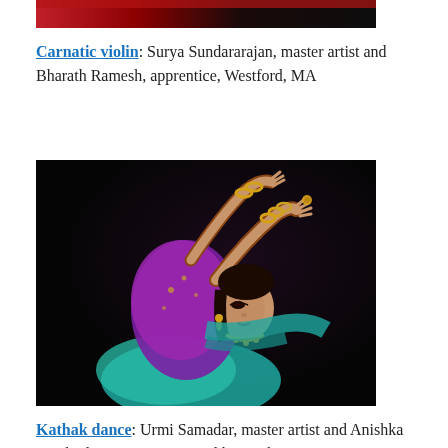[Figure (photo): Partial top image of a performance scene with red/dark tones]
Carnatic violin: Surya Sundararajan, master artist and Bharath Ramesh, apprentice, Westford, MA
[Figure (photo): A female Kathak dancer in purple and teal costume posing with raised arms against a dark background]
Kathak dance: Urmi Samadar, master artist and Anishka Yerabothu, apprentice, Southborough, MA